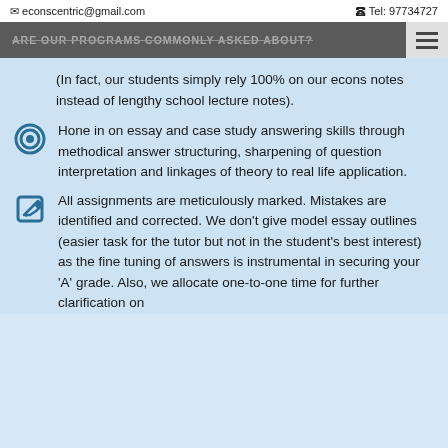econscentric@gmail.com   Tel: 97734727
(In fact, our students simply rely 100% on our econs notes instead of lengthy school lecture notes).
Hone in on essay and case study answering skills through methodical answer structuring, sharpening of question interpretation and linkages of theory to real life application.
All assignments are meticulously marked. Mistakes are identified and corrected. We don't give model essay outlines (easier task for the tutor but not in the student's best interest) as the fine tuning of answers is instrumental in securing your 'A' grade. Also, we allocate one-to-one time for further clarification on